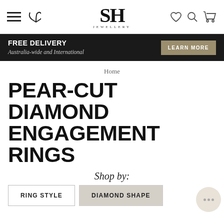[Figure (screenshot): SH Jewellery website navigation bar with hamburger menu, phone icon on the left, SH Jewellery logo in the center, and heart, search, cart icons on the right]
FREE DELIVERY Australia-wide and International
LEARN MORE
Home
PEAR-CUT DIAMOND ENGAGEMENT RINGS
Shop by:
RING STYLE
DIAMOND SHAPE